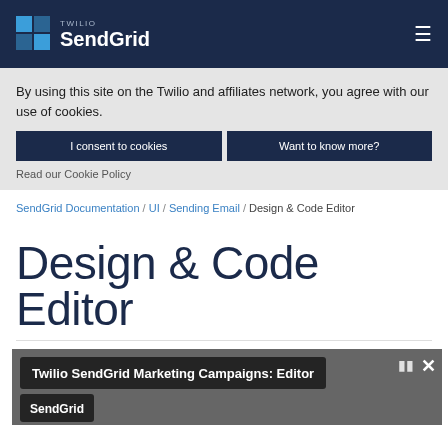[Figure (logo): Twilio SendGrid logo on dark navy navigation bar with hamburger menu icon on the right]
By using this site on the Twilio and affiliates network, you agree with our use of cookies.
I consent to cookies
Want to know more?
Read our Cookie Policy
SendGrid Documentation / UI / Sending Email / Design & Code Editor
Design & Code Editor
[Figure (screenshot): Video thumbnail showing Twilio SendGrid Marketing Campaigns: Editor with SendGrid logo label and close button]